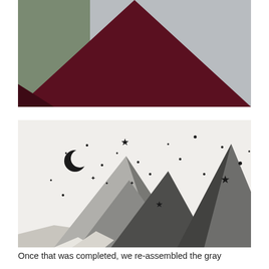[Figure (photo): Close-up photo of a dark maroon/burgundy triangular mountain shape painted on a wall, with gray background visible on the sides. The image is cropped showing just the top portion of the painted mountain.]
[Figure (photo): Photo of a wall mural featuring stylized geometric mountains in various shades of gray (light gray, medium gray, dark gray/charcoal) against a white background, with a black crescent moon and scattered black stars of various sizes decorating the sky area.]
Once that was completed, we re-assembled the gray